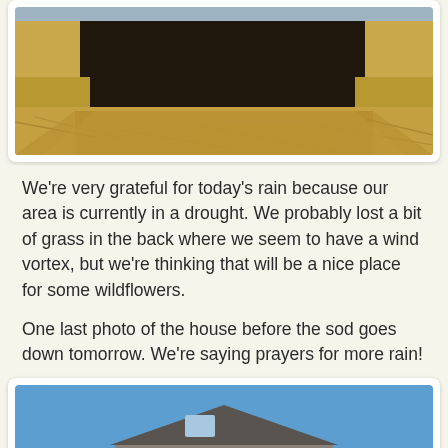[Figure (photo): Aerial or close-up photo of a garden bed area with dark soil/dirt and dry straw/hay mulch surrounding it, partly showing a building edge at top.]
We're very grateful for today's rain because our area is currently in a drought. We probably lost a bit of grass in the back where we seem to have a wind vortex, but we're thinking that will be a nice place for some wildflowers.
One last photo of the house before the sod goes down tomorrow. We're saying prayers for more rain!
[Figure (photo): Photo of a large two-story craftsman-style house with gray/brown siding, stone accents, two-car garage, blue sky, trees, and dry grass/dirt yard in foreground with a mailbox post visible.]